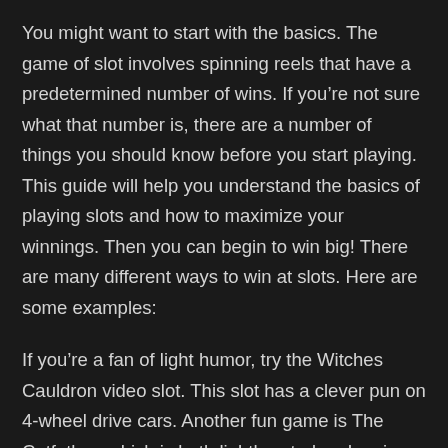You might want to start with the basics. The game of slot involves spinning reels that have a predetermined number of wins. If you’re not sure what that number is, there are a number of things you should know before you start playing. This guide will help you understand the basics of playing slots and how to maximize your winnings. Then you can begin to win big! There are many different ways to win at slots. Here are some examples:
If you’re a fan of light humor, try the Witches Cauldron video slot. This slot has a clever pun on 4-wheel drive cars. Another fun game is The Catfather, which is both lighthearted and serious. But there’s something for every slot lover. Pragmatic Play is known for their slots with a sense of humor. These games are fun, and they’re worth playing. There are also progressive jackpot games and classic three-reel slots.
Another developer that makes fun slots is G.Games. With a presence around the globe, this British developer makes slots for a